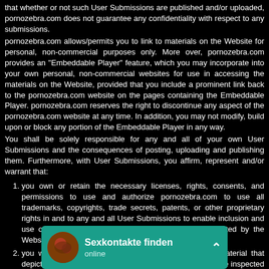that whether or not such User Submissions are published and/or uploaded, pornozebra.com does not guarantee any confidentiality with respect to any submissions.
pornozebra.com allows/permits you to link to materials on the Website for personal, non-commercial purposes only. More over, pornozebra.com provides an "Embeddable Player" feature, which you may incorporate into your own personal, non-commercial websites for use in accessing the materials on the Website, provided that you include a prominent link back to the pornozebra.com website on the pages containing the Embeddable Player. pornozebra.com reserves the right to discontinue any aspect of the pornozebra.com website at any time. In addition, you may not modify, build upon or block any portion of the Embeddable Player in any way.
You shall be solely responsible for any and all of your own User Submissions and the consequences of posting, uploading and publishing them. Furthermore, with User Submissions, you affirm, represent and/or warrant that:
you own or retain the necessary licenses, rights, consents, and permissions to use and authorize pornozebra.com to use all trademarks, copyrights, trade secrets, patents, or other proprietary rights in and to any and all User Submissions to enable inclusion and use of the User Submissions in the manner contemplated by the Website and these Terms of Service; and
you will not post, or allow anyone else to post, any material that depicts any person under the age of 18 years and you have inspected and are maintaining written documentation sufficient to confirm that all subjects of your submissions are, in fact, over the age of 18 years.
You have the written consent, release, and/or permission of each and every identifiable individual person in the User Submission to use the name or likeness ... enable inclusion ... contemplated by t... retain all of yo...